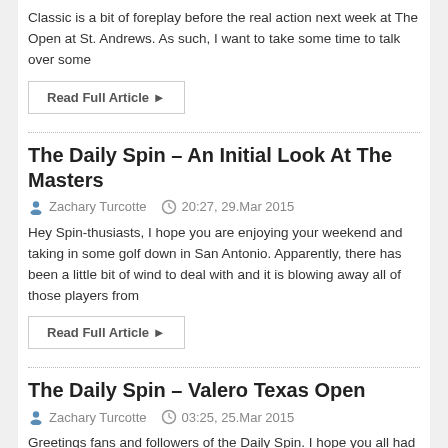Classic is a bit of foreplay before the real action next week at The Open at St. Andrews. As such, I want to take some time to talk over some
Read Full Article ►
The Daily Spin – An Initial Look At The Masters
Zachary Turcotte   20:27, 29.Mar 2015
Hey Spin-thusiasts, I hope you are enjoying your weekend and taking in some golf down in San Antonio. Apparently, there has been a little bit of wind to deal with and it is blowing away all of those players from
Read Full Article ►
The Daily Spin – Valero Texas Open
Zachary Turcotte   03:25, 25.Mar 2015
Greetings fans and followers of the Daily Spin. I hope you all had a successful weekend with the Arnold Palmer Invitational. We were really pleased with the way that our picks played for the most part and we heard a